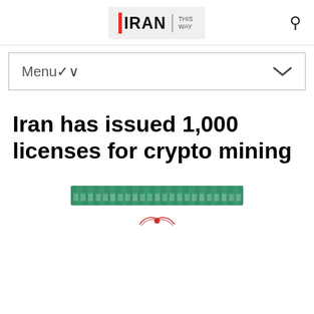IRAN THIS WAY
Iran has issued 1,000 licenses for crypto mining
[Figure (photo): Partially visible image with a green banner/bar at the top and a small red and white decorative element below it, likely the top portion of a news article image related to crypto mining in Iran.]